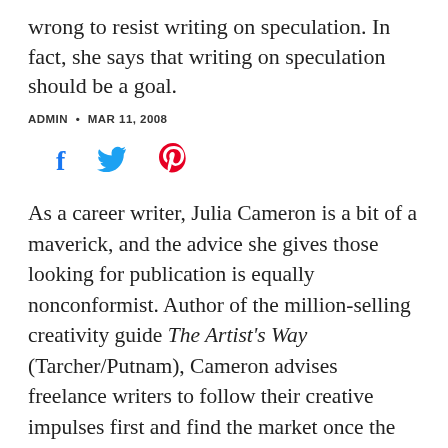wrong to resist writing on speculation. In fact, she says that writing on speculation should be a goal.
ADMIN • MAR 11, 2008
[Figure (other): Social media share icons: Facebook (f), Twitter (bird), Pinterest (p)]
As a career writer, Julia Cameron is a bit of a maverick, and the advice she gives those looking for publication is equally nonconformist. Author of the million-selling creativity guide The Artist's Way (Tarcher/Putnam), Cameron advises freelance writers to follow their creative impulses first and find the market once the work is done.